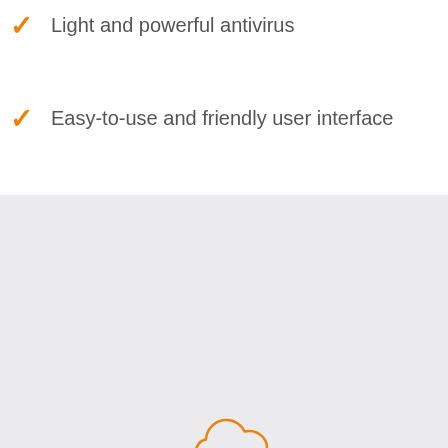Light and powerful antivirus
Easy-to-use and friendly user interface
[Figure (illustration): Orange outline icon of a cloud with a laptop/computer and two horizontal arrows indicating cloud sync/connection]
Antivirus connected to Cloud Management Console
*RECOMMENDED